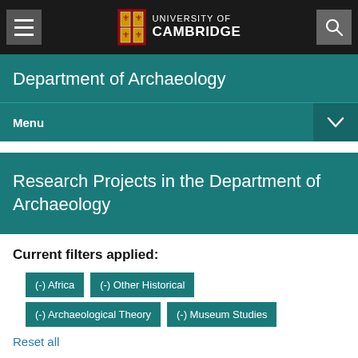UNIVERSITY OF CAMBRIDGE
Department of Archaeology
Menu
Research Projects in the Department of Archaeology
Current filters applied:
(-) Africa
(-) Other Historical
(-) Archaeological Theory
(-) Museum Studies
Reset all